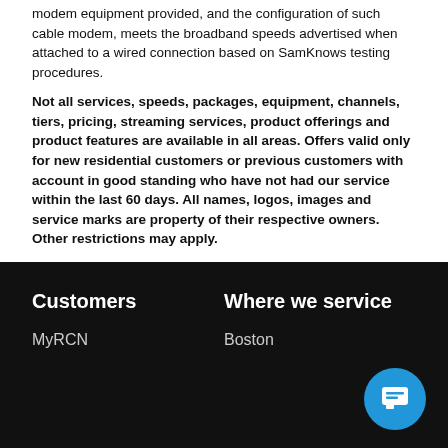modem equipment provided, and the configuration of such cable modem, meets the broadband speeds advertised when attached to a wired connection based on SamKnows testing procedures.
Not all services, speeds, packages, equipment, channels, tiers, pricing, streaming services, product offerings and product features are available in all areas. Offers valid only for new residential customers or previous customers with account in good standing who have not had our service within the last 60 days. All names, logos, images and service marks are property of their respective owners. Other restrictions may apply.
Customers | Where we service | MyRCN | Boston